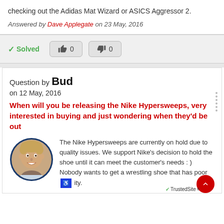checking out the Adidas Mat Wizard or ASICS Aggressor 2.
Answered by Dave Applegate on 23 May, 2016
[Figure (other): Thumbs up (0) and thumbs down (0) voting buttons with Solved badge]
Question by Bud
on 12 May, 2016
When will you be releasing the Nike Hypersweeps, very interested in buying and just wondering when they'd be out
[Figure (photo): Circular avatar photo of a smiling young man with blonde hair, dark blue border]
The Nike Hypersweeps are currently on hold due to quality issues. We support Nike's decision to hold the shoe until it can meet the customer's needs : ) Nobody wants to get a wrestling shoe that has poor [quality].